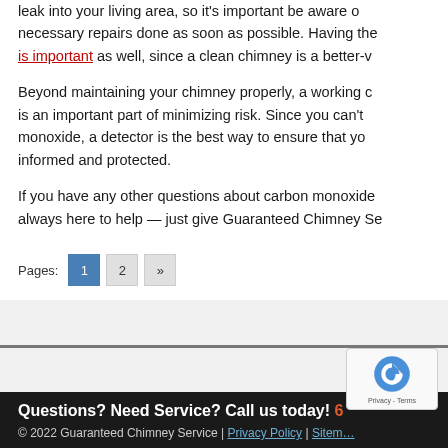leak into your living area, so it's important be aware of necessary repairs done as soon as possible. Having the is important as well, since a clean chimney is a better-v
Beyond maintaining your chimney properly, a working c is an important part of minimizing risk. Since you can't monoxide, a detector is the best way to ensure that yo informed and protected.
If you have any other questions about carbon monoxide always here to help — just give Guaranteed Chimney Se
Pages: 1 2 »
Questions? Need Service? Call us today! 6… | © 2022 Guaranteed Chimney Service | Privacy Policy | Sitemap